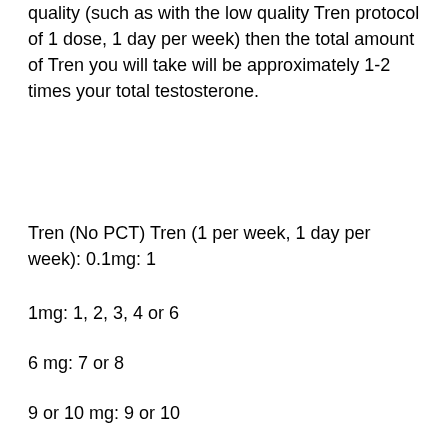quality (such as with the low quality Tren protocol of 1 dose, 1 day per week) then the total amount of Tren you will take will be approximately 1-2 times your total testosterone.
Tren (No PCT) Tren (1 per week, 1 day per week): 0.1mg: 1
1mg: 1, 2, 3, 4 or 6
6 mg: 7 or 8
9 or 10 mg: 9 or 10
11 mg: 11 or 12
This protocol will result in your body using up to 2x your total testosterone during the week, ostarine no side effects4.